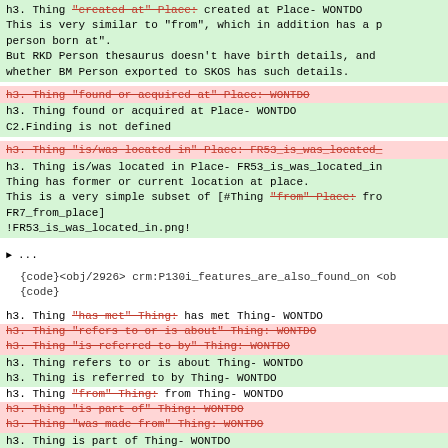h3. Thing "created at" Place: created at Place- WONTDO
This is very similar to "from", which in addition has a p person born at".
But RKD Person thesaurus doesn't have birth details, and whether BM Person exported to SKOS has such details.
h3. Thing "found or acquired at" Place: WONTDO (strikethrough)
h3. Thing found or acquired at Place- WONTDO
C2.Finding is not defined
h3. Thing "is/was located in" Place: FR53_is_was_located_ (strikethrough)
h3. Thing is/was located in Place- FR53_is_was_located_in
Thing has former or current location at place.
This is a very simple subset of [#Thing "from" Place: fro FR7_from_place]
!FR53_is_was_located_in.png!
...
{code}<obj/2926> crm:P130i_features_are_also_found_on <ob {code}
h3. Thing "has met" Thing: has met Thing- WONTDO
h3. Thing "refers to or is about" Thing: WONTDO
h3. Thing "is referred to by" Thing: WONTDO
h3. Thing refers to or is about Thing- WONTDO
h3. Thing is referred to by Thing- WONTDO
h3. Thing "from" Thing: from Thing- WONTDO
h3. Thing "is part of" Thing: WONTDO
h3. Thing "was made from" Thing: WONTDO
h3. Thing is part of Thing- WONTDO